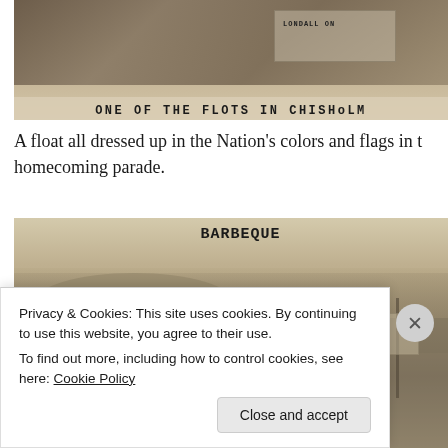[Figure (photo): Black and white historical photograph of a parade float in Chisholm, with a handwritten caption at the bottom reading ONE OF THE FLOTS IN CHISHOLM]
ONE OF THE FLOTS IN CHISHOLM
A float all dressed up in the Nation's colors and flags in the homecoming parade.
[Figure (photo): Black and white historical photograph labeled BARBEQUE showing an outdoor scene with a large crowd and tents]
Privacy & Cookies: This site uses cookies. By continuing to use this website, you agree to their use.
To find out more, including how to control cookies, see here: Cookie Policy
Close and accept